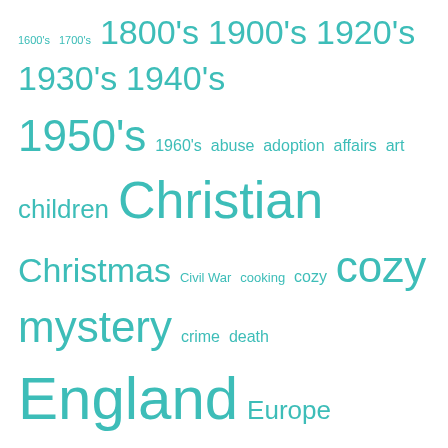[Figure (other): Tag cloud / word cloud featuring book-related genre and topic tags in teal/turquoise color. Words vary in font size based on frequency/importance. Tags include: 1600's, 1700's, 1800's, 1900's, 1920's, 1930's, 1940's, 1950's, 1960's, abuse, adoption, affairs, art, children, Christian, Christmas, Civil War, cooking, cozy, cozy mystery, crime, death, England, Europe, families, family, family issues, family relationships, fantasy, France, friends, friendship, ghosts, giveaway, Hawaii, historical, historical fiction, historical mystery, historical romance, history, Hollywood, Ireland, Italy, London, love, magic, marriage, memoir, Minnesota, missing persons, murder mystery, New England, New York, NYC, Paris, relationships, romance, San Francisco, Saturday, Snapshot, secrets, serial killer, series, sisters, supernatural, suspense, teens, thriller, time travel.]